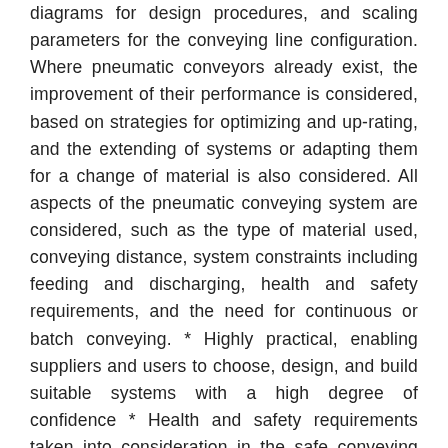diagrams for design procedures, and scaling parameters for the conveying line configuration. Where pneumatic conveyors already exist, the improvement of their performance is considered, based on strategies for optimizing and up-rating, and the extending of systems or adapting them for a change of material is also considered. All aspects of the pneumatic conveying system are considered, such as the type of material used, conveying distance, system constraints including feeding and discharging, health and safety requirements, and the need for continuous or batch conveying. * Highly practical, enabling suppliers and users to choose, design, and build suitable systems with a high degree of confidence * Health and safety requirements taken into consideration in the safe conveying methods described in this book * Practical application combined with background theory makes this an excellent resource for those learning about the topic